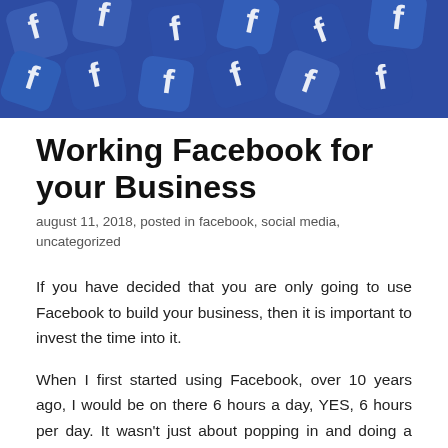[Figure (photo): Pile of blue Facebook logo tiles/icons scattered on a surface]
Working Facebook for your Business
august 11, 2018, posted in facebook, social media, uncategorized
If you have decided that you are only going to use Facebook to build your business, then it is important to invest the time into it.
When I first started using Facebook, over 10 years ago, I would be on there 6 hours a day, YES, 6 hours per day. It wasn't just about popping in and doing a post, then logging off, it was about having a plan and working it. I also recommend that you use your desktop/laptop to